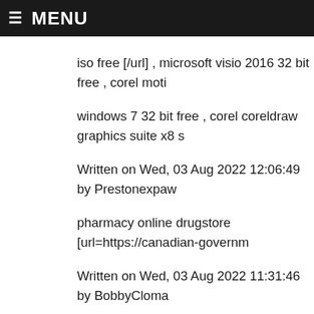≡ MENU
iso free [/url] , microsoft visio 2016 32 bit free , corel moti windows 7 32 bit free , corel coreldraw graphics suite x8 s Written on Wed, 03 Aug 2022 12:06:49 by Prestonexpaw pharmacy online drugstore [url=https://canadian-governm Written on Wed, 03 Aug 2022 11:31:46 by BobbyCloma pharmacy online drugstore [url=https://canadian-governm Written on Wed, 03 Aug 2022 11:31:16 by BobbyCloma pharmacy online drugstore [url=https://canadian-governm Written on Wed, 03 Aug 2022 11:31:11 by BobbyCloma pharmacy online drugstore [url=https://canadian-governm Written on Wed, 03 Aug 2022 11:31:03 by BobbyCloma https://newsfrom8arnameroi7.blogspot.com/2022/07/wind to save free [url=https://newsfrom53suifalpinmux1.blogsp ,windows 10 64 bit os freefree [url=https://newsfromsebic Written on Wed, 03 Aug 2022 11:27:51 by Prestonexpaw https://newsfrom479vegeheratq.blogspot.com/2022/07/w download.html] microsoft office with crack 2016 free [/url] [url=https://newsfrom7diteogeri3o.blogspot.com/2022/08/ Written on Wed, 03 Aug 2022 10:43:18 by Prestonexpaw Вход на официальный сайт Clubnika Попасть на сайт казино на карту Сбербанка? Во-первых, и это самое г